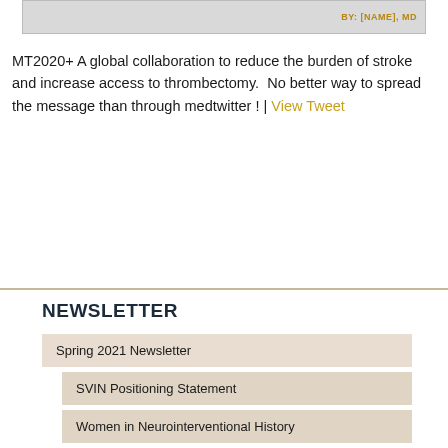[Figure (photo): Partial image at top with text overlay showing 'BY: [NAME], MD' on right side]
MT2020+ A global collaboration to reduce the burden of stroke and increase access to thrombectomy.  No better way to spread the message than through medtwitter ! | View Tweet
NEWSLETTER
Spring 2021 Newsletter
SVIN Positioning Statement
Women in Neurointerventional History